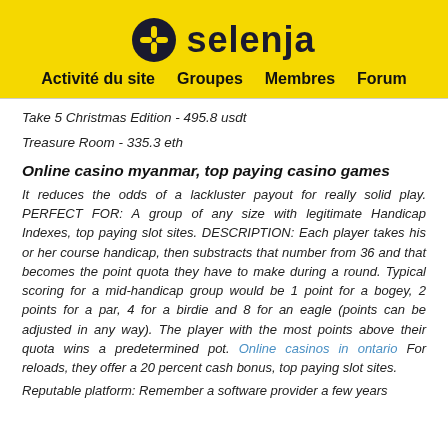[Figure (logo): Selenja website logo with yellow background, dark blue circular icon with yellow cross/plus symbol, and bold text 'selenja']
Activité du site   Groupes   Membres   Forum
Take 5 Christmas Edition - 495.8 usdt
Treasure Room - 335.3 eth
Online casino myanmar, top paying casino games
It reduces the odds of a lackluster payout for really solid play. PERFECT FOR: A group of any size with legitimate Handicap Indexes, top paying slot sites. DESCRIPTION: Each player takes his or her course handicap, then substracts that number from 36 and that becomes the point quota they have to make during a round. Typical scoring for a mid-handicap group would be 1 point for a bogey, 2 points for a par, 4 for a birdie and 8 for an eagle (points can be adjusted in any way). The player with the most points above their quota wins a predetermined pot. Online casinos in ontario For reloads, they offer a 20 percent cash bonus, top paying slot sites.
Reputable platform: Remember a software provider a few years